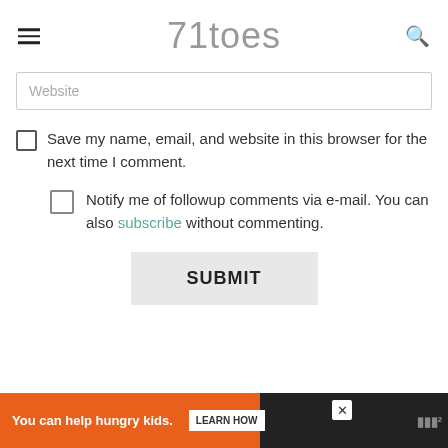71toes
Website
Save my name, email, and website in this browser for the next time I comment.
Notify me of followup comments via e-mail. You can also subscribe without commenting.
SUBMIT
You can help hungry kids. NO KID HUNGRY LEARN HOW